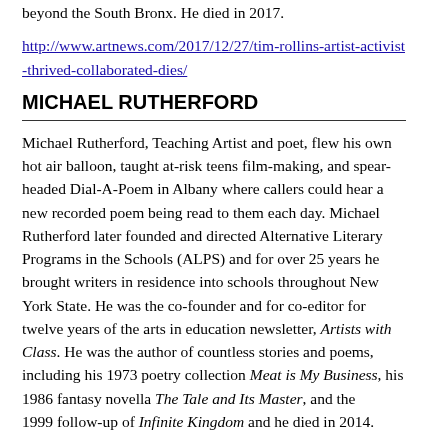beyond the South Bronx. He died in 2017.
http://www.artnews.com/2017/12/27/tim-rollins-artist-activist-thrived-collaborated-dies/
MICHAEL RUTHERFORD
Michael Rutherford, Teaching Artist and poet, flew his own hot air balloon, taught at-risk teens film-making, and spear-headed Dial-A-Poem in Albany where callers could hear a new recorded poem being read to them each day. Michael Rutherford later founded and directed Alternative Literary Programs in the Schools (ALPS) and for over 25 years he brought writers in residence into schools throughout New York State. He was the co-founder and for co-editor for twelve years of the arts in education newsletter, Artists with Class. He was the author of countless stories and poems, including his 1973 poetry collection Meat is My Business, his 1986 fantasy novella The Tale and Its Master, and the 1999 follow-up of Infinite Kingdom and he died in 2014.